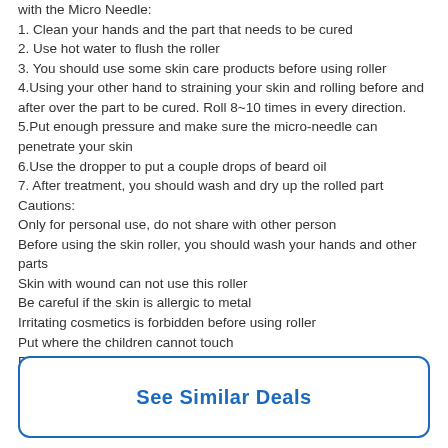with the Micro Needle:
1. Clean your hands and the part that needs to be cured
2. Use hot water to flush the roller
3. You should use some skin care products before using roller
4.Using your other hand to straining your skin and rolling before and after over the part to be cured. Roll 8~10 times in every direction.
5.Put enough pressure and make sure the micro-needle can penetrate your skin
6.Use the dropper to put a couple drops of beard oil
7. After treatment, you should wash and dry up the rolled part
Cautions:
Only for personal use, do not share with other person
Before using the skin roller, you should wash your hands and other parts
Skin with wound can not use this roller
Be careful if the skin is allergic to metal
Irritating cosmetics is forbidden before using roller
Put where the children cannot touch
Package Included:
1*Beard Oil+1*Beard Roller+1*Micro needling Roller
See Similar Deals